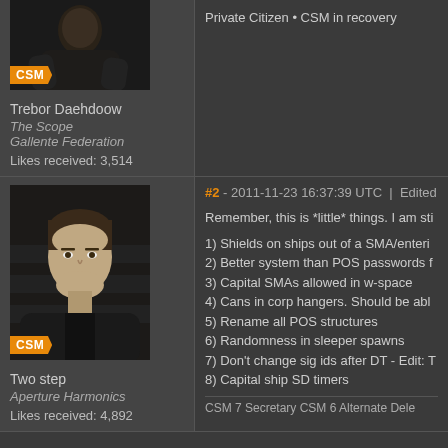[Figure (photo): Avatar of Trebor Daehdoow with CSM badge, partial view at top]
Private Citizen • CSM in recovery
Trebor Daehdoow
The Scope
Gallente Federation
Likes received: 3,514
[Figure (photo): Avatar of Two step with CSM badge]
#2 - 2011-11-23 16:37:39 UTC | Edited by
Remember, this is *little* things. I am sti
1) Shields on ships out of a SMA/enteri
2) Better system than POS passwords f
3) Capital SMAs allowed in w-space
4) Cans in corp hangers. Should be abl
5) Rename all POS structures
6) Randomness in sleeper spawns
7) Don't change sig ids after DT - Edit: T
8) Capital ship SD timers
Two step
Aperture Harmonics
Likes received: 4,892
CSM 7 Secretary CSM 6 Alternate Dele